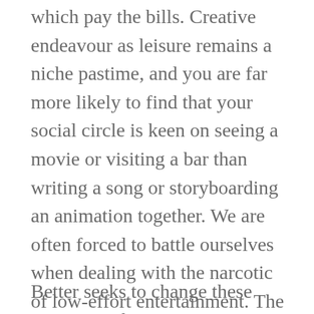which pay the bills. Creative endeavour as leisure remains a niche pastime, and you are far more likely to find that your social circle is keen on seeing a movie or visiting a bar than writing a song or storyboarding an animation together. We are often forced to battle ourselves when dealing with the narcotic of low-effort entertainment. The reward of creation, while qualitatively immense, is generally less immediate than other options, and so choosing it is often a challenge.
Better seeks to change these parameters by creating the ideal environment for creation